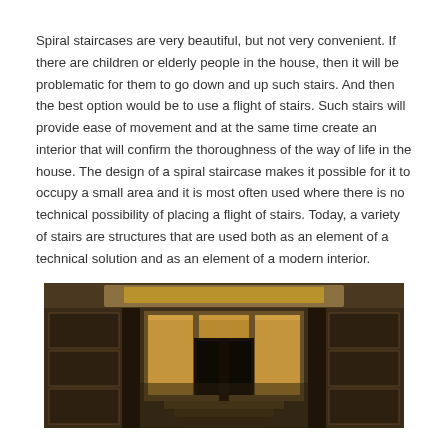Spiral staircases are very beautiful, but not very convenient. If there are children or elderly people in the house, then it will be problematic for them to go down and up such stairs. And then the best option would be to use a flight of stairs. Such stairs will provide ease of movement and at the same time create an interior that will confirm the thoroughness of the way of life in the house. The design of a spiral staircase makes it possible for it to occupy a small area and it is most often used where there is no technical possibility of placing a flight of stairs. Today, a variety of stairs are structures that are used both as an element of a technical solution and as an element of a modern interior.
[Figure (photo): Wide-angle interior photo of a grand hall with dark wooden paneling, tall wooden columns, ornate ceiling with gold details, and illuminated golden panels in the background. Steps are visible at the bottom center.]